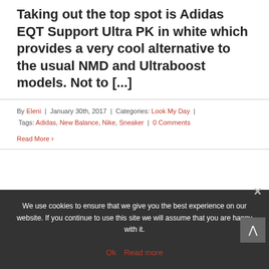Taking out the top spot is Adidas EQT Support Ultra PK in white which provides a very cool alternative to the usual NMD and Ultraboost models. Not to [...]
By Eleni | January 30th, 2017 | Categories: Look My Day | Tags: Adidas, New Balance, Nike, Sneaker | 0 Comments
Read More ›
We use cookies to ensure that we give you the best experience on our website. If you continue to use this site we will assume that you are happy with it.
Ok  Read more